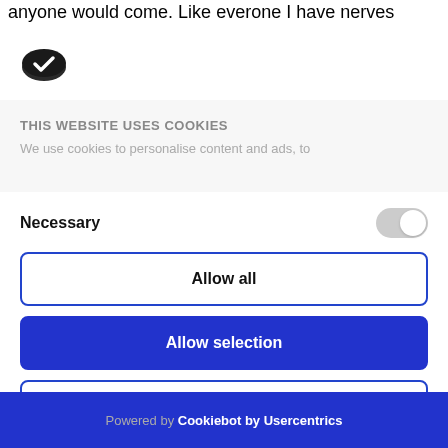anyone would come. Like everone I have nerves
[Figure (logo): Cookiebot logo - dark oval shape with checkmark]
THIS WEBSITE USES COOKIES
We use cookies to personalise content and ads, to
Necessary
Allow all
Allow selection
Deny
Powered by Cookiebot by Usercentrics